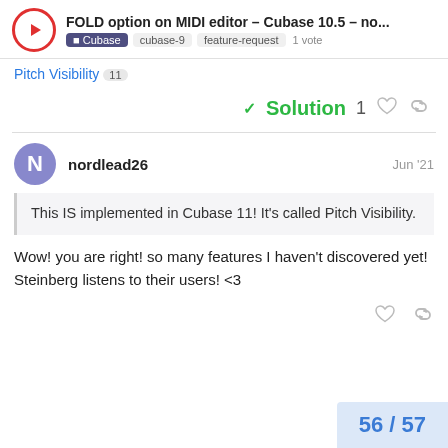FOLD option on MIDI editor – Cubase 10.5 – no... | Cubase · cubase-9 · feature-request · 1 vote
Pitch Visibility 11
✓ Solution  1 ♡ 🔗
nordlead26  Jun '21
This IS implemented in Cubase 11! It's called Pitch Visibility.
Wow! you are right! so many features I haven't discovered yet! Steinberg listens to their users! <3
56 / 57